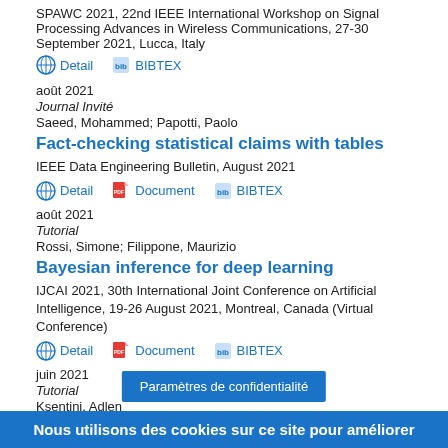SPAWC 2021, 22nd IEEE International Workshop on Signal Processing Advances in Wireless Communications, 27-30 September 2021, Lucca, Italy
Detail   BIBTEX
août 2021
Journal Invité
Saeed, Mohammed; Papotti, Paolo
Fact-checking statistical claims with tables
IEEE Data Engineering Bulletin, August 2021
Detail   Document   BIBTEX
août 2021
Tutorial
Rossi, Simone; Filippone, Maurizio
Bayesian inference for deep learning
IJCAI 2021, 30th International Joint Conference on Artificial Intelligence, 19-26 August 2021, Montreal, Canada (Virtual Conference)
Detail   Document   BIBTEX
juin 2021
Tutorial
Ksentini, Adlen
Paramètres de confidentialité
Nous utilisons des cookies sur ce site pour améliorer